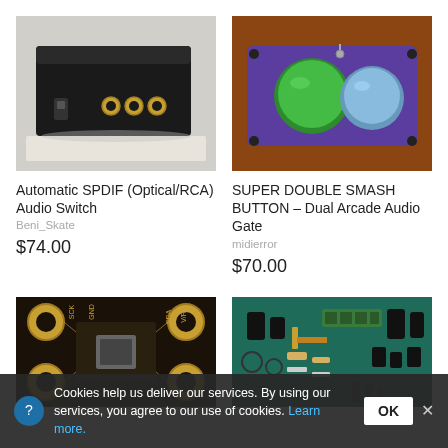[Figure (photo): Black metal audio switch box with gold RCA connectors on the back, sitting on a light surface]
[Figure (photo): Purple/blue epoxy-coated box with a green and a blue large arcade button on top, with metal toggle switch]
Automatic SPDIF (Optical/RCA) Audio Switch
Beni_Skate
$74.00
SUPER DOUBLE SMASH BUTTON – Dual Arcade Audio Gate
midierror
$70.00
[Figure (photo): Close-up of a small PCB with gold circular pads labeled SCK, GND, SDA, VR and a small IC chip in center]
[Figure (photo): Green PCB with various electronic components including capacitors, resistors, and connectors laid out]
Cookies help us deliver our services. By using our services, you agree to our use of cookies. Learn more.